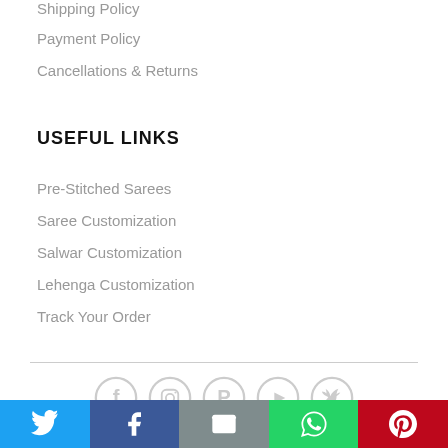Shipping Policy
Payment Policy
Cancellations & Returns
USEFUL LINKS
Pre-Stitched Sarees
Saree Customization
Salwar Customization
Lehenga Customization
Track Your Order
[Figure (illustration): Social media icons row: Facebook, Instagram, Pinterest, YouTube, Twitter in circular badge style, light gray color]
[Figure (infographic): Bottom share bar with 5 colored buttons: Twitter (blue), Facebook (dark blue), Email (gray), WhatsApp (green), Pinterest (red), each with white icon]